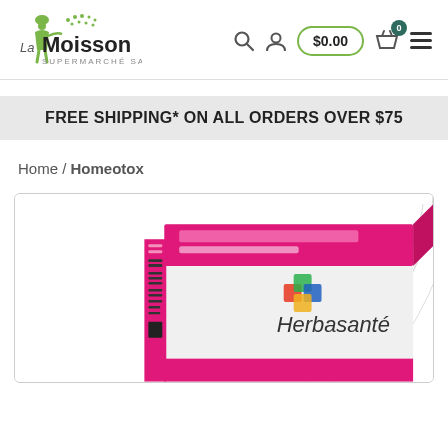[Figure (logo): La Moisson Supermarché Santé logo — green figure with dots and text]
FREE SHIPPING* ON ALL ORDERS OVER $75
Home / Homeotox
[Figure (photo): Herbasanté Homeotox product box with pink and white design, featuring the Herbasanté logo with colorful squares]